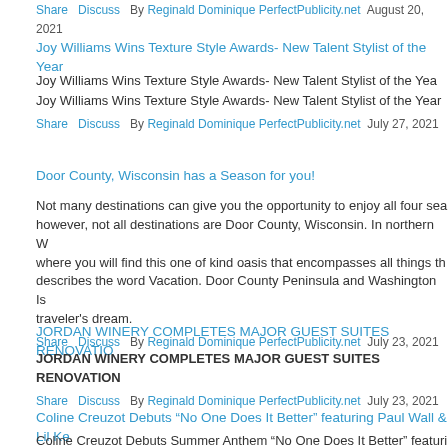Share  Discuss  By Reginald Dominique PerfectPublicity.net  August 20, 2021
Joy Williams Wins Texture Style Awards- New Talent Stylist of the Year
Joy Williams Wins Texture Style Awards- New Talent Stylist of the Year
Joy Williams Wins Texture Style Awards- New Talent Stylist of the Year
Share  Discuss  By Reginald Dominique PerfectPublicity.net  July 27, 2021
Door County, Wisconsin has a Season for you!
Not many destinations can give you the opportunity to enjoy all four sea... however, not all destinations are Door County, Wisconsin. In northern W... where you will find this one of kind oasis that encompasses all things th... describes the word Vacation. Door County Peninsula and Washington Is... traveler's dream.
Share  Discuss  By Reginald Dominique PerfectPublicity.net  July 23, 2021
JORDAN WINERY COMPLETES MAJOR GUEST SUITES RENOVATION
JORDAN WINERY COMPLETES MAJOR GUEST SUITES RENOVATION
Share  Discuss  By Reginald Dominique PerfectPublicity.net  July 23, 2021
Coline Creuzot Debuts “No One Does It Better” featuring Paul Wall & Lil Ke
Coline Creuzot Debuts Summer Anthem “No One Does It Better” featuri...